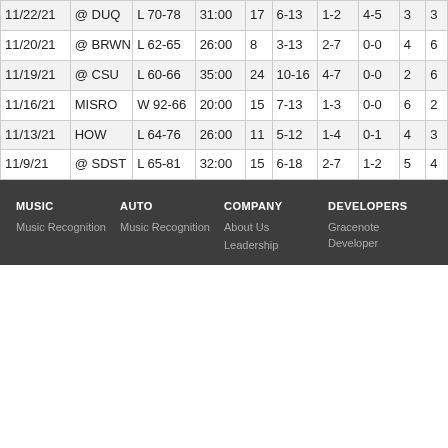| Date | Opp | Result | Min | Pts | FGM-A | 3PM-A | FTM-A | Reb | ... |
| --- | --- | --- | --- | --- | --- | --- | --- | --- | --- |
| 11/22/21 | @ DUQ | L 70-78 | 31:00 | 17 | 6-13 | 1-2 | 4-5 | 3 | 3 |
| 11/20/21 | @ BRWN | L 62-65 | 26:00 | 8 | 3-13 | 2-7 | 0-0 | 4 | 6 |
| 11/19/21 | @ CSU | L 60-66 | 35:00 | 24 | 10-16 | 4-7 | 0-0 | 2 | 6 |
| 11/16/21 | MISRO | W 92-66 | 20:00 | 15 | 7-13 | 1-3 | 0-0 | 6 | 2 |
| 11/13/21 | HOW | L 64-76 | 26:00 | 11 | 5-12 | 1-4 | 0-1 | 4 | 3 |
| 11/9/21 | @ SDST | L 65-81 | 32:00 | 15 | 6-18 | 2-7 | 1-2 | 5 | 4 |
MUSIC | AUTO | COMPANY | DEVELOPERS | Music Recognition | Music Recognition | About Us | Gracenote Developer | Leadership
MUSIC
AUTO
COMPANY
DEVELOPERS
Music Recognition
Music Recognition
About Us
Gracenote Developer
Leadership